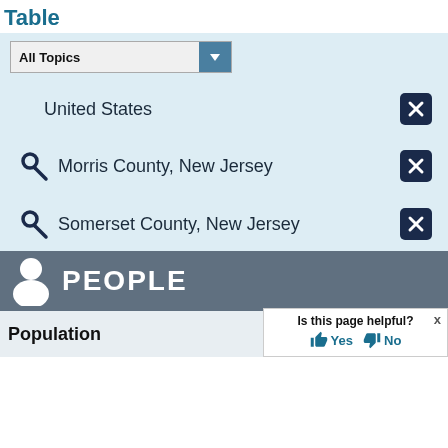Table
All Topics
United States
Morris County, New Jersey
Somerset County, New Jersey
PEOPLE
Population
Is this page helpful? Yes No